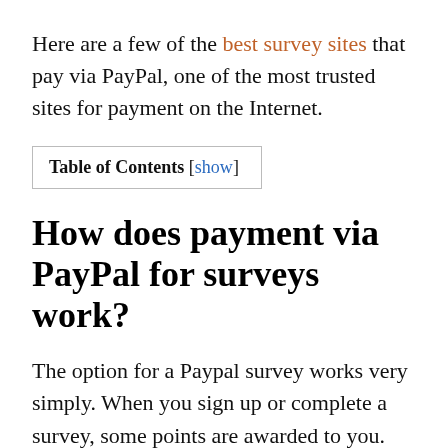Here are a few of the best survey sites that pay via PayPal, one of the most trusted sites for payment on the Internet.
Table of Contents [show]
How does payment via PayPal for surveys work?
The option for a Paypal survey works very simply. When you sign up or complete a survey, some points are awarded to you. These points can be redeemed for Paypal money and